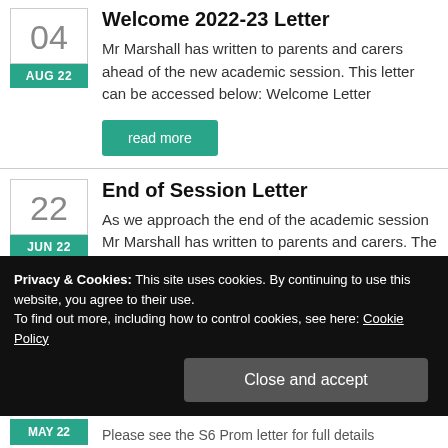04 AUG 22
Welcome 2022-23 Letter
Mr Marshall has written to parents and carers ahead of the new academic session. This letter can be accessed below: Welcome Letter
read more
22 JUN 22
End of Session Letter
As we approach the end of the academic session Mr Marshall has written to parents and carers. The letter can be accessed here
Privacy & Cookies: This site uses cookies. By continuing to use this website, you agree to their use.
To find out more, including how to control cookies, see here: Cookie Policy
Close and accept
MAY 22
Please see the S6 Prom letter for full details